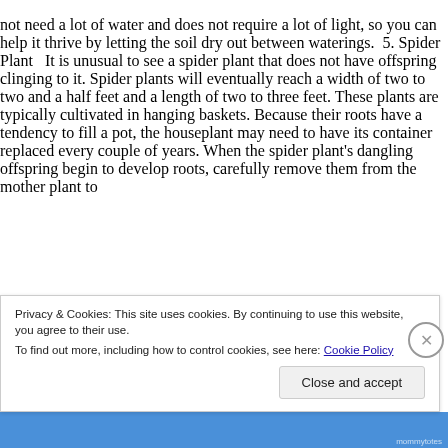not need a lot of water and does not require a lot of light, so you can help it thrive by letting the soil dry out between waterings.  5. Spider Plant   It is unusual to see a spider plant that does not have offspring clinging to it. Spider plants will eventually reach a width of two to two and a half feet and a length of two to three feet. These plants are typically cultivated in hanging baskets. Because their roots have a tendency to fill a pot, the houseplant may need to have its container replaced every couple of years. When the spider plant's dangling offspring begin to develop roots, carefully remove them from the mother plant to
Privacy & Cookies: This site uses cookies. By continuing to use this website, you agree to their use.
To find out more, including how to control cookies, see here: Cookie Policy
Close and accept